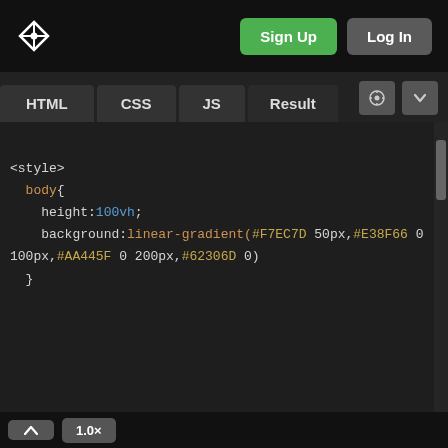[Figure (screenshot): CodePen-like online code editor screenshot showing HTML/CSS/JS/Result tabs in the editor. The CSS tab is active showing code with a body style using height:100vh and a linear-gradient background with colors #F7EC7D, #E38F66, #AA445F, #62306D. The result panel shows a gradient preview with yellow, orange-salmon, and dusty rose horizontal bands. Top navigation bar has a logo, Sign Up (green) and Log In (gray) buttons. Bottom bar has a caret-up button and 1.0x zoom label.]